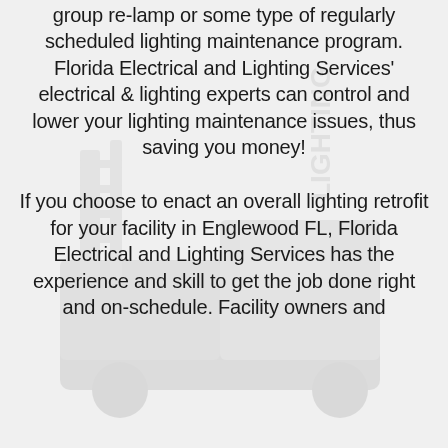group re-lamp or some type of regularly scheduled lighting maintenance program. Florida Electrical and Lighting Services' electrical & lighting experts can control and lower your lighting maintenance issues, thus saving you money!
If you choose to enact an overall lighting retrofit for your facility in Englewood FL, Florida Electrical and Lighting Services has the experience and skill to get the job done right and on-schedule. Facility owners and